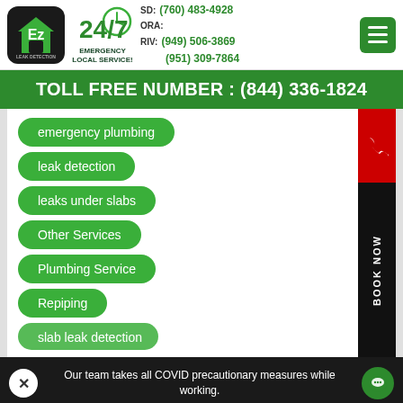[Figure (logo): Ez Leak Detection logo in black rounded square with green house icon]
[Figure (infographic): 24/7 Emergency Local Service badge with clock graphic in green]
SD: (760) 483-4928
ORA:
RIV: (949) 506-3869
(951) 309-7864
[Figure (other): Green hamburger menu button]
TOLL FREE NUMBER : (844) 336-1824
emergency plumbing
leak detection
leaks under slabs
Other Services
Plumbing Service
Repiping
slab leak detection
Our team takes all COVID precautionary measures while working.